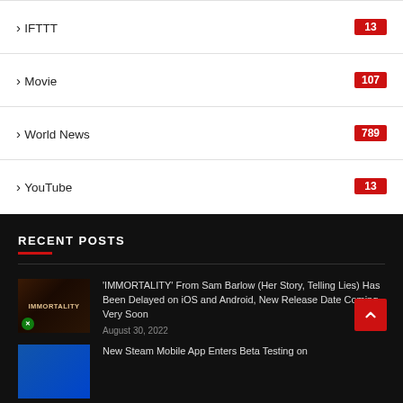IFTTT 13
Movie 107
World News 789
YouTube 13
RECENT POSTS
'IMMORTALITY' From Sam Barlow (Her Story, Telling Lies) Has Been Delayed on iOS and Android, New Release Date Coming Very Soon
August 30, 2022
New Steam Mobile App Enters Beta Testing on